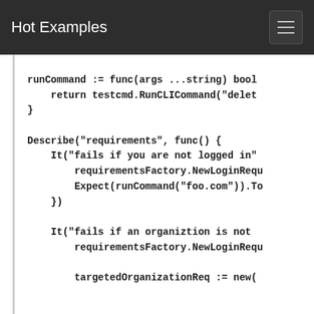Hot Examples
runCommand := func(args ...string) bool {
	return testcmd.RunCLICommand("delet
}

Describe("requirements", func() {
	It("fails if you are not logged in"
		requirementsFactory.NewLoginRequ
		Expect(runCommand("foo.com")).To
	})

	It("fails if an organiztion is not 
		requirementsFactory.NewLoginRequ

		targetedOrganizationReq := new(